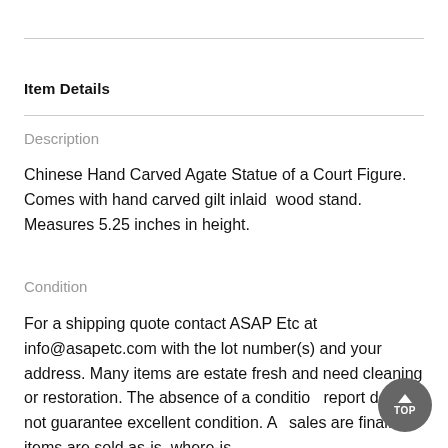Item Details
Description
Chinese Hand Carved Agate Statue of a Court Figure. Comes with hand carved gilt inlaid  wood stand. Measures 5.25 inches in height.
Condition
For a shipping quote contact ASAP Etc at info@asapetc.com with the lot number(s) and your address. Many items are estate fresh and need cleaning or restoration. The absence of a condition report does not guarantee excellent condition. All sales are final. All items are sold as-is, where-is.